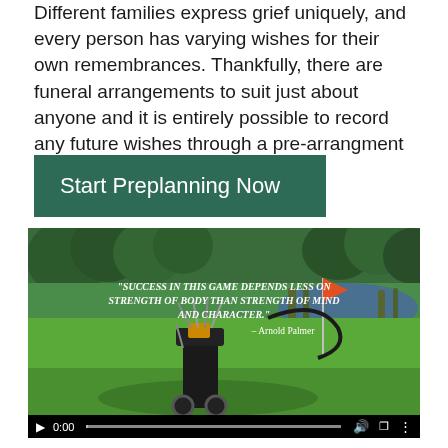Different families express grief uniquely, and every person has varying wishes for their own remembrances. Thankfully, there are funeral arrangements to suit just about anyone and it is entirely possible to record any future wishes through a pre-arrangment conference.
Start Preplanning Now
[Figure (screenshot): Video player showing a golf course scene with a golf bag and flag in the foreground, green fairway and trees in the background. Overlaid quote text reads: "SUCCESS IN THIS GAME DEPENDS LESS ON STRENGTH OF BODY THAN STRENGTH OF MIND AND CHARACTER." – Arnold Palmer. Video controls show 0:00 timestamp at the bottom.]